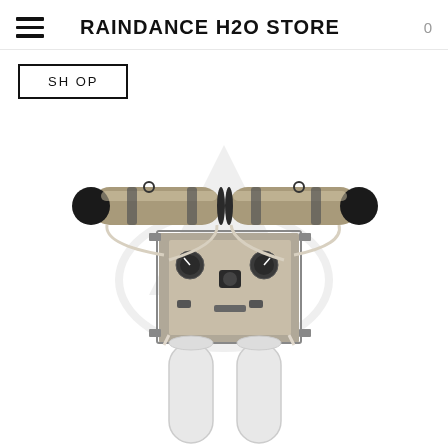RAINDANCE H2O STORE
SH OP
[Figure (photo): Water filtration/reverse osmosis system product photo showing two large horizontal cylindrical filter housings (black end caps, stainless steel body) mounted above a control panel with gauges and valves, connected by tubing, with two white vertical cylindrical filter housings below, all mounted on a metal bracket. A faint triangular/circular watermark overlay is visible.]